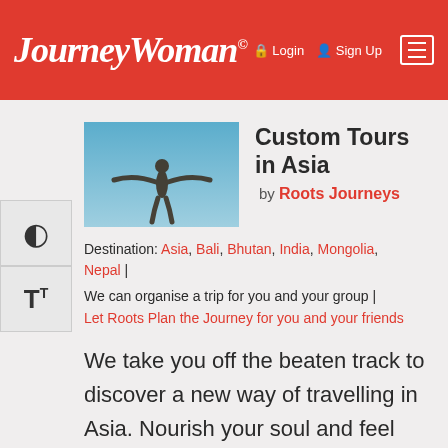JourneyWoman | Login | Sign Up
[Figure (photo): Person with arms outstretched against a blue sky]
Custom Tours in Asia
by Roots Journeys
Destination: Asia, Bali, Bhutan, India, Mongolia, Nepal |
We can organise a trip for you and your group | Let Roots Plan the Journey for you and your friends
We take you off the beaten track to discover a new way of travelling in Asia. Nourish your soul and feel the magic of Asia. We promote eco-friendly and mindful travel. We are based in Northern